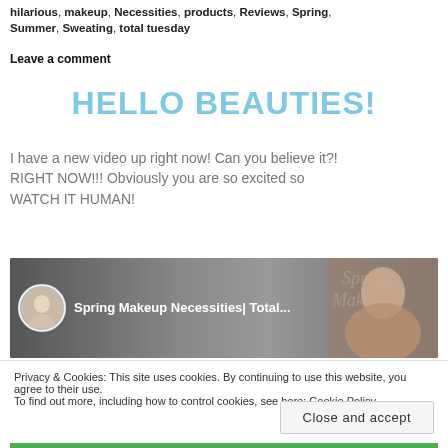hilarious, makeup, Necessities, products, Reviews, Spring, Summer, Sweating, total tuesday
Leave a comment
HELLO BEAUTIES!
I have a new video up right now! Can you believe it?! RIGHT NOW!!! Obviously you are so excited so WATCH IT HUMAN!
[Figure (screenshot): YouTube video thumbnail showing Spring Makeup Necessities| Total... with a circular avatar, watermark text 'Spring Makeup', a face, and three-dot menu icon]
Privacy & Cookies: This site uses cookies. By continuing to use this website, you agree to their use.
To find out more, including how to control cookies, see here: Cookie Policy
Close and accept